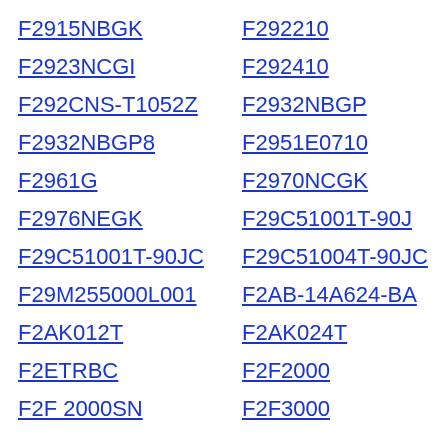F2915NBGK
F292210
F2923NCGI
F292410
F292CNS-T1052Z
F2932NBGP
F2932NBGP8
F2951E0710
F2961G
F2970NCGK
F2976NEGK
F29C51001T-90J
F29C51001T-90JC
F29C51004T-90JC
F29M255000L001
F2AB-14A624-BA
F2AK012T
F2AK024T
F2ETRBC
F2F2000
F2F 2000SN
F2F3000